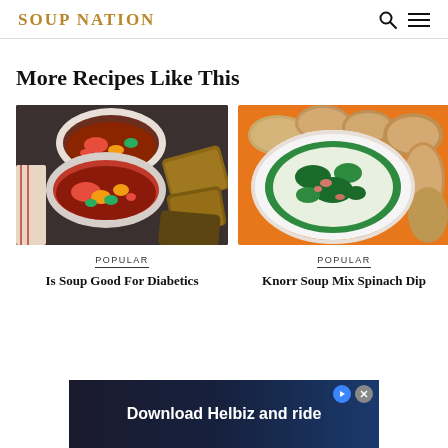SOUP NATION
More Recipes Like This
[Figure (photo): Bowl of vegetable soup with carrots, peas, and broth, served with bread slices on a dark surface with a striped cloth]
POPULAR
Is Soup Good For Diabetics
[Figure (photo): White bowl of spinach artichoke dip surrounded by crackers and flatbread on an orange plate]
POPULAR
Knorr Soup Mix Spinach Dip
[Figure (screenshot): Advertisement banner: Download Helbiz and ride]